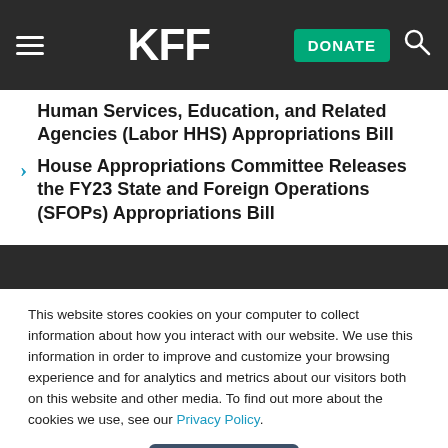KFF — DONATE [search icon]
Human Services, Education, and Related Agencies (Labor HHS) Appropriations Bill
House Appropriations Committee Releases the FY23 State and Foreign Operations (SFOPs) Appropriations Bill
This website stores cookies on your computer to collect information about how you interact with our website. We use this information in order to improve and customize your browsing experience and for analytics and metrics about our visitors both on this website and other media. To find out more about the cookies we use, see our Privacy Policy.
Accept